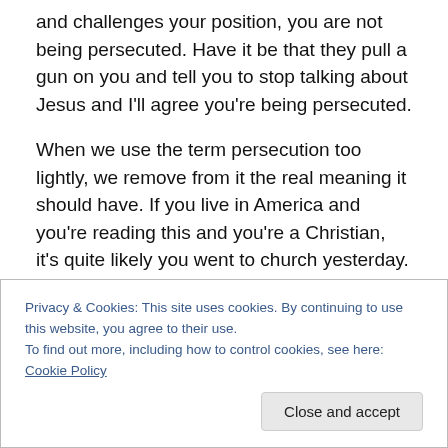and challenges your position, you are not being persecuted. Have it be that they pull a gun on you and tell you to stop talking about Jesus and I'll agree you're being persecuted.
When we use the term persecution too lightly, we remove from it the real meaning it should have. If you live in America and you're reading this and you're a Christian, it's quite likely you went to church yesterday. You freely worshiped in a public place and had no fear of the government or Muslim terrorists coming in and killing you.
Privacy & Cookies: This site uses cookies. By continuing to use this website, you agree to their use. To find out more, including how to control cookies, see here: Cookie Policy
Close and accept